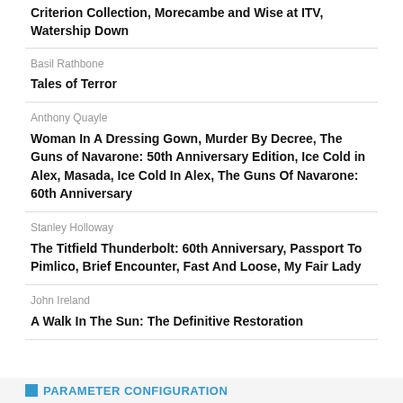Criterion Collection, Morecambe and Wise at ITV, Watership Down
Basil Rathbone
Tales of Terror
Anthony Quayle
Woman In A Dressing Gown, Murder By Decree, The Guns of Navarone: 50th Anniversary Edition, Ice Cold in Alex, Masada, Ice Cold In Alex, The Guns Of Navarone: 60th Anniversary
Stanley Holloway
The Titfield Thunderbolt: 60th Anniversary, Passport To Pimlico, Brief Encounter, Fast And Loose, My Fair Lady
John Ireland
A Walk In The Sun: The Definitive Restoration